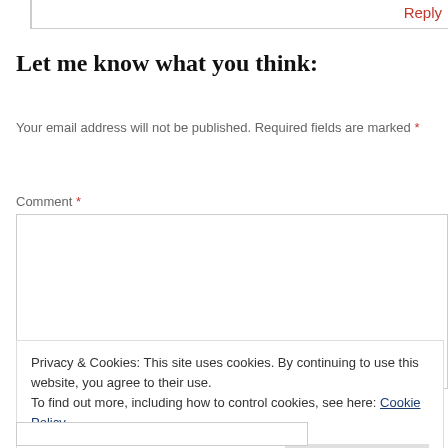Reply
Let me know what you think:
Your email address will not be published. Required fields are marked *
Comment *
Privacy & Cookies: This site uses cookies. By continuing to use this website, you agree to their use.
To find out more, including how to control cookies, see here: Cookie Policy
Close and accept